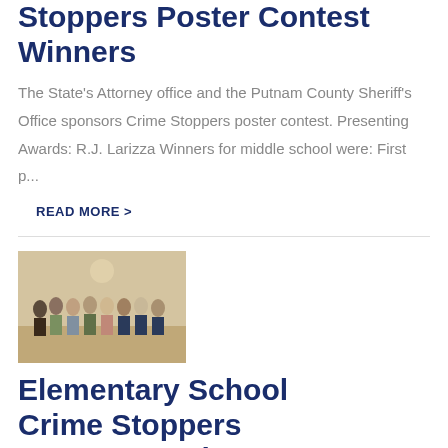Stoppers Poster Contest Winners
The State's Attorney office and the Putnam County Sheriff's Office sponsors Crime Stoppers poster contest. Presenting Awards: R.J. Larizza Winners for middle school were: First p...
READ MORE >
[Figure (photo): Group photo of people at an awards ceremony, likely in a government or school setting]
Elementary School Crime Stoppers Poster Awards